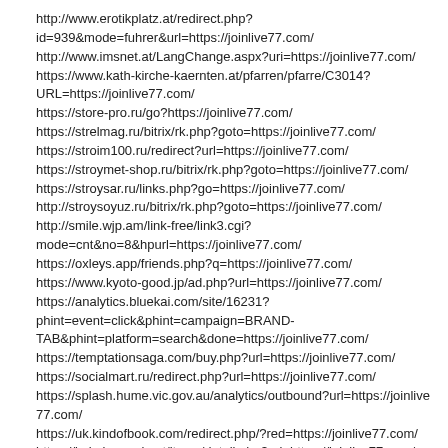http://www.erotikplatz.at/redirect.php?id=939&mode=fuhrer&url=https://joinlive77.com/
http://www.imsnet.at/LangChange.aspx?uri=https://joinlive77.com/
https://www.kath-kirche-kaernten.at/pfarren/pfarre/C3014?URL=https://joinlive77.com/
https://store-pro.ru/go?https://joinlive77.com/
https://strelmag.ru/bitrix/rk.php?goto=https://joinlive77.com/
https://stroim100.ru/redirect?url=https://joinlive77.com/
https://stroymet-shop.ru/bitrix/rk.php?goto=https://joinlive77.com/
https://stroysar.ru/links.php?go=https://joinlive77.com/
http://stroysoyuz.ru/bitrix/rk.php?goto=https://joinlive77.com/
http://smile.wjp.am/link-free/link3.cgi?mode=cnt&no=8&hpurl=https://joinlive77.com/
https://oxleys.app/friends.php?q=https://joinlive77.com/
https://www.kyoto-good.jp/ad.php?url=https://joinlive77.com/
https://analytics.bluekai.com/site/16231?phint=event=click&phint=campaign=BRAND-TAB&phint=platform=search&done=https://joinlive77.com/
https://temptationsaga.com/buy.php?url=https://joinlive77.com/
https://socialmart.ru/redirect.php?url=https://joinlive77.com/
https://splash.hume.vic.gov.au/analytics/outbound?url=https://joinlive77.com/
https://uk.kindofbook.com/redirect.php/?red=https://joinlive77.com/
https://kakaku-navi.net/items/detail.php?url=https://joinlive77.com/